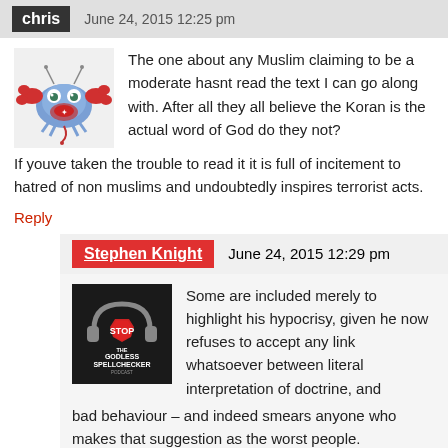chris   June 24, 2015 12:25 pm
[Figure (illustration): Cartoon blue crab avatar with red claws and antennae on white background]
The one about any Muslim claiming to be a moderate hasnt read the text I can go along with. After all they all believe the Koran is the actual word of God do they not? If youve taken the trouble to read it it is full of incitement to hatred of non muslims and undoubtedly inspires terrorist acts.
Reply
Stephen Knight   June 24, 2015 12:29 pm
[Figure (logo): Godless Spellchecker podcast logo: red stop sign with headphones, dark background, white text STOP GODLESS SPELLCHECKER]
Some are included merely to highlight his hypocrisy, given he now refuses to accept any link whatsoever between literal interpretation of doctrine, and bad behaviour – and indeed smears anyone who makes that suggestion as the worst people.